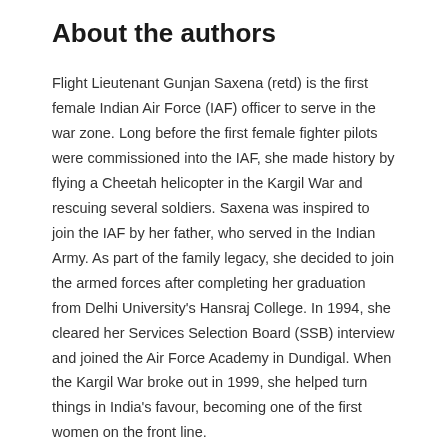About the authors
Flight Lieutenant Gunjan Saxena (retd) is the first female Indian Air Force (IAF) officer to serve in the war zone. Long before the first female fighter pilots were commissioned into the IAF, she made history by flying a Cheetah helicopter in the Kargil War and rescuing several soldiers. Saxena was inspired to join the IAF by her father, who served in the Indian Army. As part of the family legacy, she decided to join the armed forces after completing her graduation from Delhi University's Hansraj College. In 1994, she cleared her Services Selection Board (SSB) interview and joined the Air Force Academy in Dundigal. When the Kargil War broke out in 1999, she helped turn things in India's favour, becoming one of the first women on the front line.